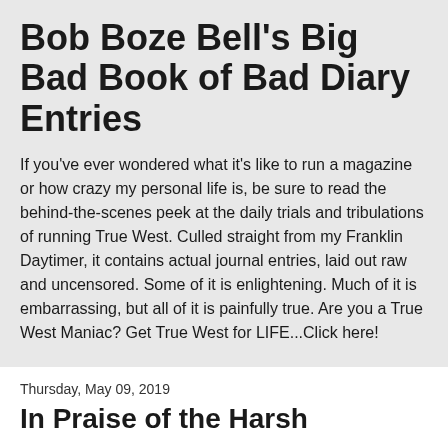Bob Boze Bell's Big Bad Book of Bad Diary Entries
If you've ever wondered what it's like to run a magazine or how crazy my personal life is, be sure to read the behind-the-scenes peek at the daily trials and tribulations of running True West. Culled straight from my Franklin Daytimer, it contains actual journal entries, laid out raw and uncensored. Some of it is enlightening.  Much of it is embarrassing, but all of it is painfully true. Are you a True West Maniac? Get True West for LIFE...Click here!
Thursday, May 09, 2019
In Praise of the Harsh
May 9, 2019
Believe it or not, I had better things to do.